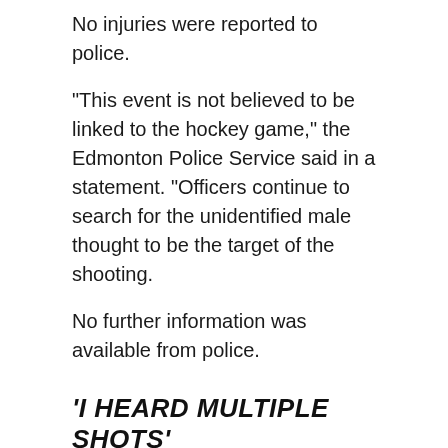No injuries were reported to police.
"This event is not believed to be linked to the hockey game," the Edmonton Police Service said in a statement. "Officers continue to search for the unidentified male thought to be the target of the shooting.
No further information was available from police.
'I HEARD MULTIPLE SHOTS'
Jason Parent, a witness at the scene, said that he was about to leave the Crash Hotel when he heard the incident.
"I heard multiple shots, probably four or five," Parent said. "I looked at my wife, we looked at